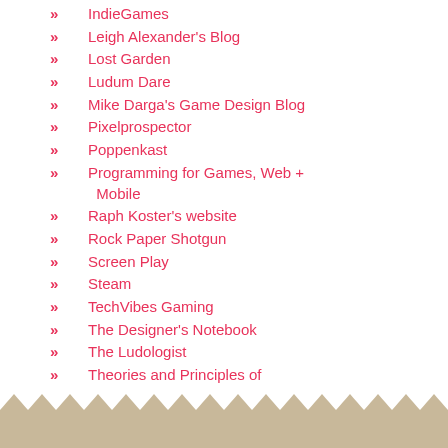IndieGames
Leigh Alexander's Blog
Lost Garden
Ludum Dare
Mike Darga's Game Design Blog
Pixelprospector
Poppenkast
Programming for Games, Web + Mobile
Raph Koster's website
Rock Paper Shotgun
Screen Play
Steam
TechVibes Gaming
The Designer's Notebook
The Ludologist
Theories and Principles of Game Design
TIGSource
Unity 3D
Zen of Design